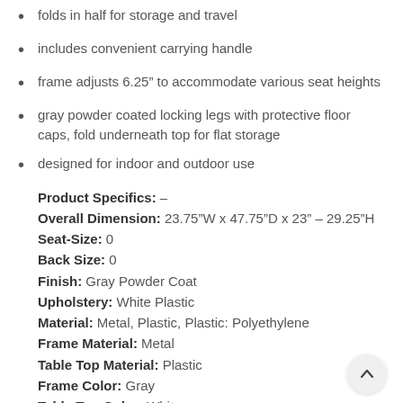folds in half for storage and travel
includes convenient carrying handle
frame adjusts 6.25" to accommodate various seat heights
gray powder coated locking legs with protective floor caps, fold underneath top for flat storage
designed for indoor and outdoor use
Product Specifics: –
Overall Dimension: 23.75"W x 47.75"D x 23" – 29.25"H
Seat-Size: 0
Back Size: 0
Finish: Gray Powder Coat
Upholstery: White Plastic
Material: Metal, Plastic, Plastic: Polyethylene
Frame Material: Metal
Table Top Material: Plastic
Frame Color: Gray
Table Top Color: White
Style: Classic